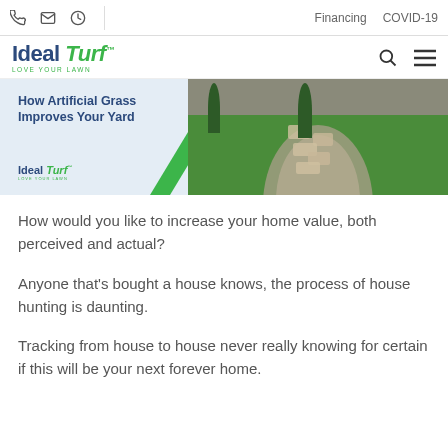Financing  COVID-19
[Figure (logo): Ideal Turf logo with tagline LOVE YOUR LAWN]
[Figure (photo): Banner image showing artificial grass yard with stone walkway. Text overlay: How Artificial Grass Improves Your Yard, with Ideal Turf logo]
How would you like to increase your home value, both perceived and actual?
Anyone that's bought a house knows, the process of house hunting is daunting.
Tracking from house to house never really knowing for certain if this will be your next forever home.